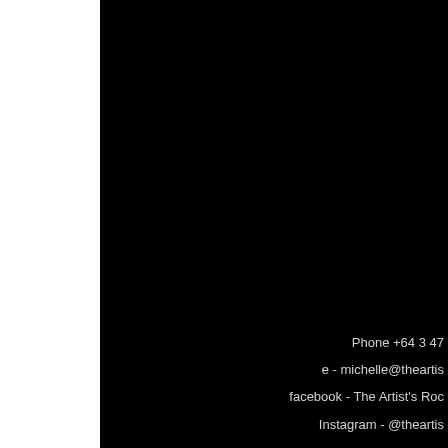[Figure (photo): Predominantly black image with a white bar on the left side, appearing to be a cropped/partial page scan]
Phone +64 3 47
e - michelle@theartis
facebook - The Artist's Roc
Instagram - @theartis